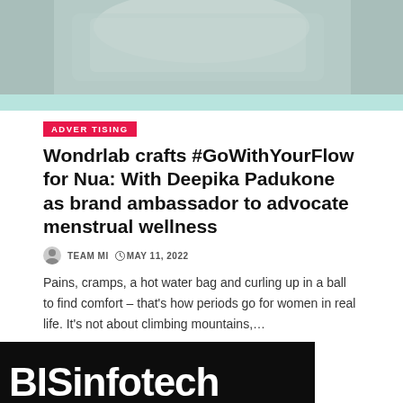[Figure (photo): Hero image showing a person wrapped in a grey waffle-knit blanket or towel, with a teal/mint colored bar below]
ADVERTISING
Wondrlab crafts #GoWithYourFlow for Nua: With Deepika Padukone as brand ambassador to advocate menstrual wellness
TEAM MI   MAY 11, 2022
Pains, cramps, a hot water bag and curling up in a ball to find comfort – that's how periods go for women in real life. It's not about climbing mountains,…
[Figure (logo): BISinfotech Magazine banner advertisement with white bold text on black background showing BISinfotech Magazine logo and magazine cover thumbnails]